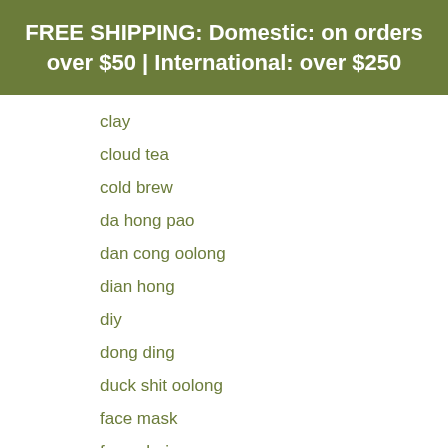FREE SHIPPING: Domestic: on orders over $50 | International: over $250
clay
cloud tea
cold brew
da hong pao
dan cong oolong
dian hong
diy
dong ding
duck shit oolong
face mask
feng shui
first flush
food pairing